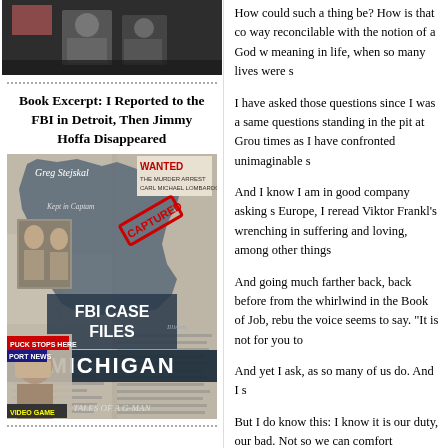[Figure (photo): Top portion of a photo showing people, dark background, partially visible]
Book Excerpt: I Reported to the FBI in Detroit, Then Jimmy Hoffa Disappeared
[Figure (photo): Book cover: FBI Case Files Michigan: Tales of a G-Man by Greg Stejskal. Shows a grey silhouette of Michigan state with newspaper clippings and mugshots. Text includes WANTED, FBI CASE FILES, MICHIGAN, TALES OF A G-MAN.]
How could such a thing be? How is that co way reconcilable with the notion of a God w meaning in life, when so many lives were s
I have asked those questions since I was a same questions standing in the pit at Grou times as I have confronted unimaginable s
And I know I am in good company asking s Europe, I reread Viktor Frankl's wrenching in suffering and loving, among other things
And going much farther back, back before from the whirlwind in the Book of Job, rebu the voice seems to say. "It is not for you to
And yet I ask, as so many of us do. And I s
But I do know this: I know it is our duty, our bad. Not so we can comfort ourselves by s would be perverse. It will never be "worth i